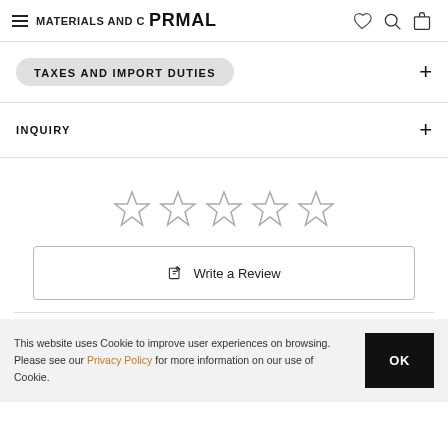MATERIALS AND CARE · PRMAL
TAXES AND IMPORT DUTIES
INQUIRY
[Figure (other): Five empty star rating icons in a row]
Write a Review
This website uses Cookie to improve user experiences on browsing. Please see our Privacy Policy for more information on our use of Cookie.